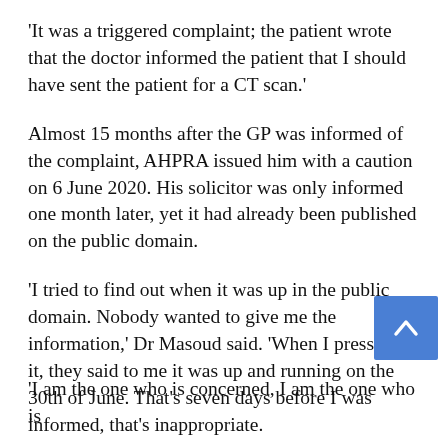'It was a triggered complaint; the patient wrote that the doctor informed the patient that I should have sent the patient for a CT scan.'
Almost 15 months after the GP was informed of the complaint, AHPRA issued him with a caution on 6 June 2020. His solicitor was only informed one month later, yet it had already been published on the public domain.
'I tried to find out when it was up in the public domain. Nobody wanted to give me the information,' Dr Masoud said. 'When I pressed on it, they said to me it was up and running on the 30th of June. That's seven days before I was informed, that's inappropriate.
'I am the one who is concerned, I am the one who is